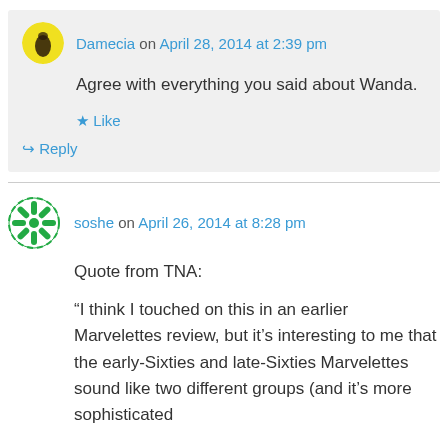Damecia on April 28, 2014 at 2:39 pm
Agree with everything you said about Wanda.
★ Like
↳ Reply
soshe on April 26, 2014 at 8:28 pm
Quote from TNA:
“I think I touched on this in an earlier Marvelettes review, but it’s interesting to me that the early-Sixties and late-Sixties Marvelettes sound like two different groups (and it’s more sophisticated